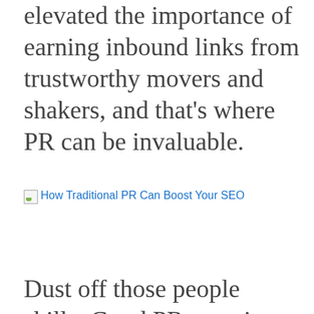elevated the importance of earning inbound links from trustworthy movers and shakers, and that's where PR can be invaluable.
[Figure (other): Broken image placeholder with alt text link reading 'How Traditional PR Can Boost Your SEO']
Dust off those people skills: Good PR can give